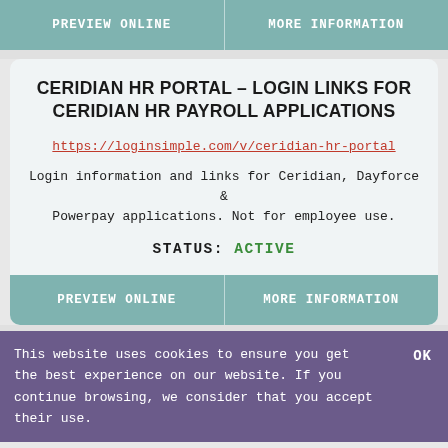| PREVIEW ONLINE | MORE INFORMATION |
| --- | --- |
CERIDIAN HR PORTAL – LOGIN LINKS FOR CERIDIAN HR PAYROLL APPLICATIONS
https://loginsimple.com/v/ceridian-hr-portal
Login information and links for Ceridian, Dayforce & Powerpay applications. Not for employee use.
STATUS: ACTIVE
| PREVIEW ONLINE | MORE INFORMATION |
| --- | --- |
This website uses cookies to ensure you get the best experience on our website. If you continue browsing, we consider that you accept their use.